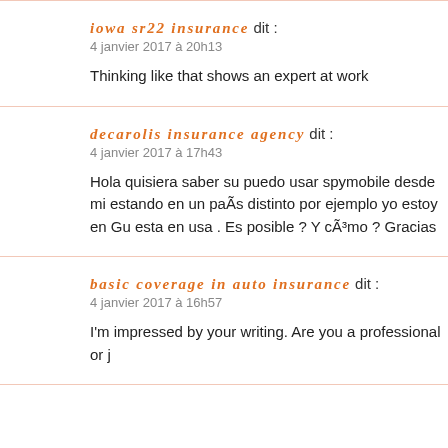iowa sr22 insurance dit :
4 janvier 2017 à 20h13
Thinking like that shows an expert at work
decarolis insurance agency dit :
4 janvier 2017 à 17h43
Hola quisiera saber su puedo usar spymobile desde mi estando en un paÃs distinto por ejemplo yo estoy en Gu esta en usa . Es posible ? Y cÃ³mo ? Gracias
basic coverage in auto insurance dit :
4 janvier 2017 à 16h57
I'm impressed by your writing. Are you a professional or j